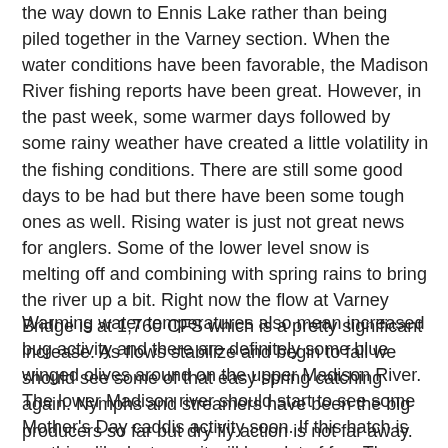the way down to Ennis Lake rather than being piled together in the Varney section. When the water conditions have been favorable, the Madison River fishing reports have been great.  However, in the past week, some warmer days followed by some rainy weather have created a little volatility in the fishing conditions.  There are still some good days to be had but there have been some tough ones as well.  Rising water is just not great news for anglers.  Some of the lower level snow is melting off and combining with spring rains to bring the river up a bit.  Right now the flow at Varney Bridge is at 1,760 CFS which is a pretty significant increase.  As flows stabilize and begin to fall we should see some of that easy spring catching again.  Nymphs and streamers have been the big producers so far but dry fly action is not far away.
Warming water temperatures also mean increased bug activity and there are definitely some blue winged olives around on the upper Madison River.  The lower Madison river should start to see some Mother's Day caddis activity soon.  If this hatch is anything like last year it will be a lot of fun.  The Mother's Day hatch on the Madison usually produces huge numbers of bugs and when the temperatures